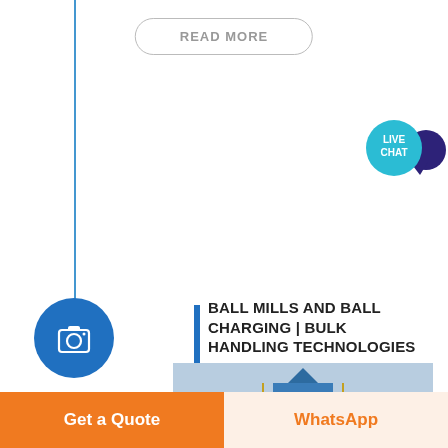READ MORE
[Figure (infographic): Live chat bubble icon with teal circle showing LIVE CHAT text and dark purple speech bubble tail]
[Figure (other): Blue camera icon inside a blue circle on a vertical timeline]
BALL MILLS AND BALL CHARGING | BULK HANDLING TECHNOLOGIES ...
[Figure (photo): Industrial ball mill and bulk handling equipment — blue and orange industrial structure with scaffolding and silos]
Get a Quote
WhatsApp